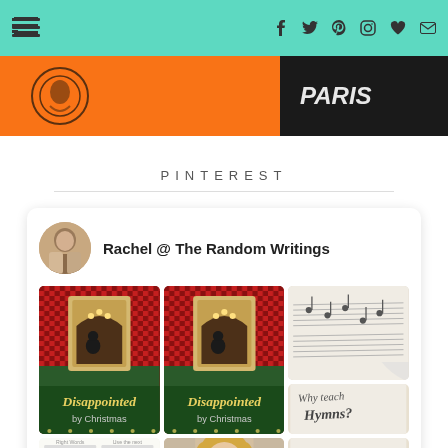Navigation and social icons header bar
[Figure (photo): Orange and dark image strip with Paris text, appears to be a fashion or travel blog header image]
PINTEREST
[Figure (screenshot): Pinterest widget showing profile 'Rachel @ The Random Writings' with 3-column pin grid. Pins include: two 'Disappointed by Christmas' pins with nativity silhouette cards on red checkered background, a photo of sheet music, a worksheet image, a person/portrait image, and 'Why teach Hymns?' text image.]